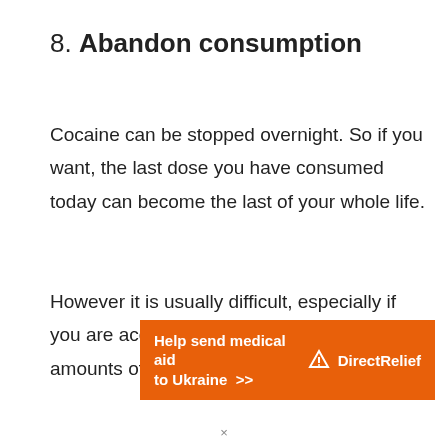8. Abandon consumption
Cocaine can be stopped overnight. So if you want, the last dose you have consumed today can become the last of your whole life.
However it is usually difficult, especially if you are accustomed to consuming high amounts of cocaine.
[Figure (infographic): Orange advertisement banner reading 'Help send medical aid to Ukraine >>' with DirectRelief logo and name on the right side]